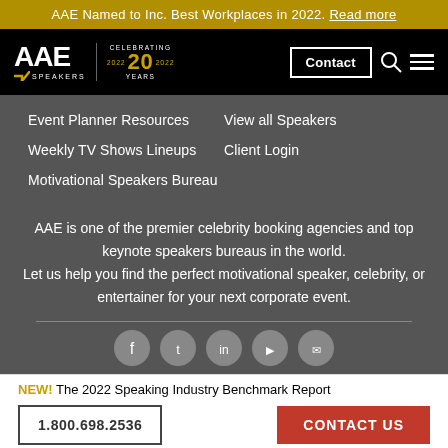AAE Named to Inc. Best Workplaces in 2022. Read more
[Figure (logo): AAE Speakers logo with celebrating 20 years badge, Contact button, search icon, and hamburger menu]
Event Planner Resources
View all Speakers
Weekly TV Shows Lineups
Client Login
Motivational Speakers Bureau
AAE is one of the premier celebrity booking agencies and top keynote speakers bureaus in the world. Let us help you find the perfect motivational speaker, celebrity, or entertainer for your next corporate event.
[Figure (infographic): Social media icons row: Facebook, Twitter, LinkedIn, YouTube, and another icon]
NEW! The 2022 Speaking Industry Benchmark Report
1.800.698.2536
CONTACT US